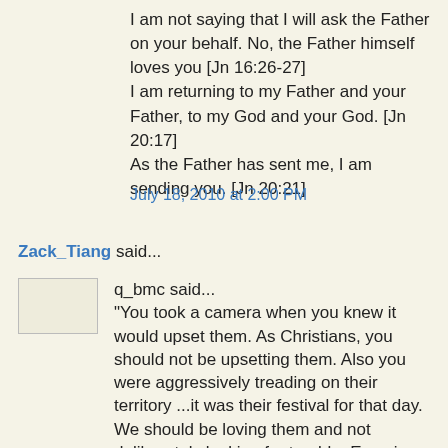I am not saying that I will ask the Father on your behalf. No, the Father himself loves you [Jn 16:26-27]
I am returning to my Father and your Father, to my God and your God. [Jn 20:17]
As the Father has sent me, I am sending you. [Jn 20:21]
July 18, 2010 at 2:00 PM
Zack_Tiang said...
q_bmc said...
"You took a camera when you knew it would upset them. As Christians, you should not be upsetting them. Also you were aggressively treading on their territory ...it was their festival for that day. We should be loving them and not deliberately looking for trouble. Examine your hearts. Were you looking for trouble?"

And then q_bmc also said...
"Then they would know there is nothing that will appease the Muslims."
"Yes we should reach out to the Muslims in love but it should be tough love. We should not be appeasing..."